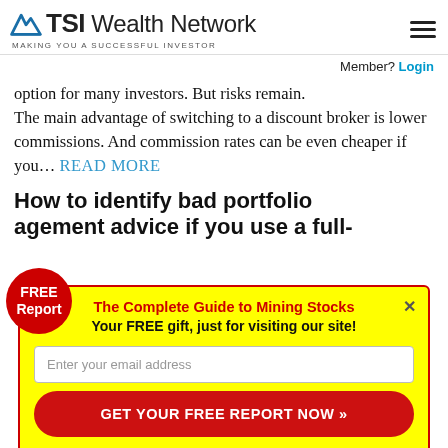TSI Wealth Network — MAKING YOU A SUCCESSFUL INVESTOR
Member? Login
option for many investors. But risks remain. The main advantage of switching to a discount broker is lower commissions. And commission rates can be even cheaper if you… READ MORE
How to identify bad portfolio management advice if you use a full-
FREE Report
The Complete Guide to Mining Stocks
Your FREE gift, just for visiting our site!
Enter your email address
GET YOUR FREE REPORT NOW »